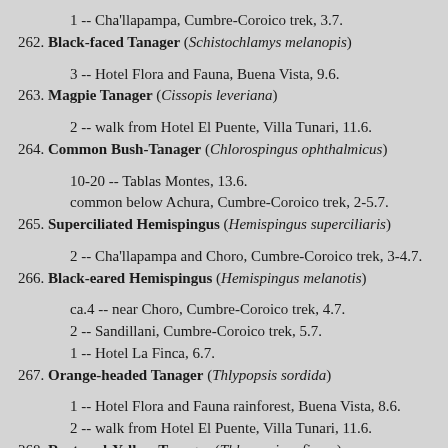1 -- Cha'llapampa, Cumbre-Coroico trek, 3.7.
262. Black-faced Tanager (Schistochlamys melanopis)
3 -- Hotel Flora and Fauna, Buena Vista, 9.6.
263. Magpie Tanager (Cissopis leveriana)
2 -- walk from Hotel El Puente, Villa Tunari, 11.6.
264. Common Bush-Tanager (Chlorospingus ophthalmicus)
10-20 -- Tablas Montes, 13.6.
common below Achura, Cumbre-Coroico trek, 2-5.7.
265. Superciliated Hemispingus (Hemispingus superciliaris)
2 -- Cha'llapampa and Choro, Cumbre-Coroico trek, 3-4.7.
266. Black-eared Hemispingus (Hemispingus melanotis)
ca.4 -- near Choro, Cumbre-Coroico trek, 4.7.
2 -- Sandillani, Cumbre-Coroico trek, 5.7.
1 -- Hotel La Finca, 6.7.
267. Orange-headed Tanager (Thlypopsis sordida)
1 -- Hotel Flora and Fauna rainforest, Buena Vista, 8.6.
2 -- walk from Hotel El Puente, Villa Tunari, 11.6.
268. Rust-and-Yellow Tanager (Thlypopsis ruficeps)